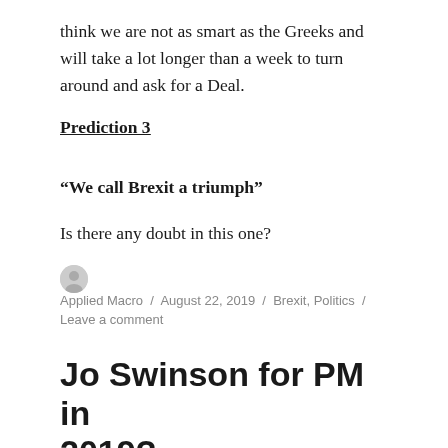think we are not as smart as the Greeks and will take a lot longer than a week to turn around and ask for a Deal.
Prediction 3
“We call Brexit a triumph”
Is there any doubt in this one?
Applied Macro / August 22, 2019 / Brexit, Politics / Leave a comment
Jo Swinson for PM in 2019?